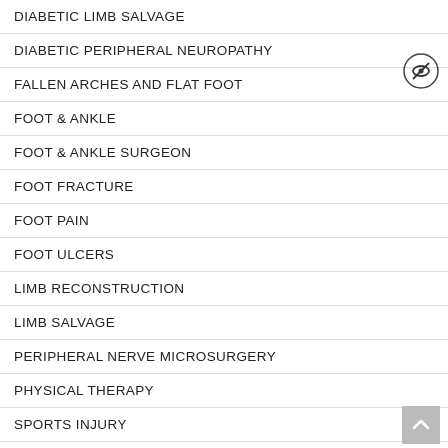DIABETIC LIMB SALVAGE
DIABETIC PERIPHERAL NEUROPATHY
FALLEN ARCHES AND FLAT FOOT
FOOT & ANKLE
FOOT & ANKLE SURGEON
FOOT FRACTURE
FOOT PAIN
FOOT ULCERS
LIMB RECONSTRUCTION
LIMB SALVAGE
PERIPHERAL NERVE MICROSURGERY
PHYSICAL THERAPY
SPORTS INJURY